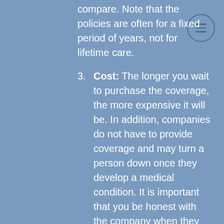compare. Note that the policies are often for a fixed period of years, not for lifetime care.
3. Cost: The longer you wait to purchase the coverage, the more expensive it will be. In addition, companies do not have to provide coverage and may turn a person down once they develop a medical condition. It is important that you be honest with the company when they ask medical questions. If you are not, this may allow them to decline pay later.
4. Ask about a company's insurance rating. All insurance companies are not the same. You